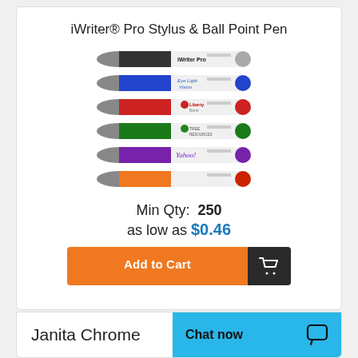iWriter® Pro Stylus & Ball Point Pen
[Figure (photo): Six iWriter Pro Stylus & Ball Point Pens stacked, each with a different color grip: black, blue, red, green, purple, and orange. The white barrels show various printed logos.]
Min Qty:  250
as low as $0.46
Add to Cart
Janita Chrome
Chat now